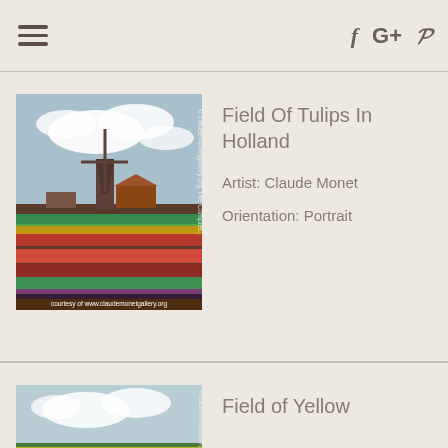☰  f  G+  ℗
[Figure (photo): Painting of a field of tulips in Holland with a windmill, courtesy of www.claudemonetgallery.org]
Field Of Tulips In Holland
Artist: Claude Monet
Orientation: Portrait
[Figure (photo): Partial painting of a field of yellow flowers (Claude Monet)]
Field of Yellow